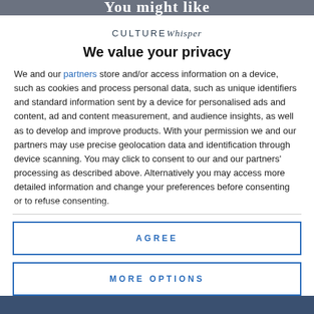You might like
CULTURE Whisper
We value your privacy
We and our partners store and/or access information on a device, such as cookies and process personal data, such as unique identifiers and standard information sent by a device for personalised ads and content, ad and content measurement, and audience insights, as well as to develop and improve products. With your permission we and our partners may use precise geolocation data and identification through device scanning. You may click to consent to our and our partners' processing as described above. Alternatively you may access more detailed information and change your preferences before consenting or to refuse consenting.
AGREE
MORE OPTIONS